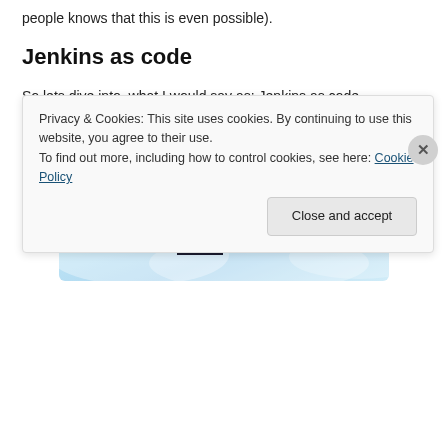people knows that this is even possible).
Jenkins as code
So lets dive into, what I would say as: Jenkins as code.
[Figure (photo): Tumblr advertisement banner showing the Tumblr logo (stylized 't' in purple and pink) with yellow sparkle stars on a light blue sky background. Text reads 'or $4.99 a month + FREE SHIPPING']
Privacy & Cookies: This site uses cookies. By continuing to use this website, you agree to their use.
To find out more, including how to control cookies, see here: Cookie Policy